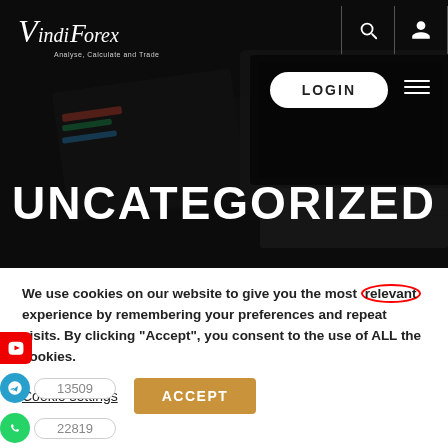[Figure (screenshot): Vindi Forex website header with dark hero image showing laptop/desk, navigation bar with search and profile icons, LOGIN button, hamburger menu, and UNCATEGORIZED page title]
We use cookies on our website to give you the most relevant experience by remembering your preferences and repeat visits. By clicking “Accept”, you consent to the use of ALL the cookies.
Cookie settings
ACCEPT